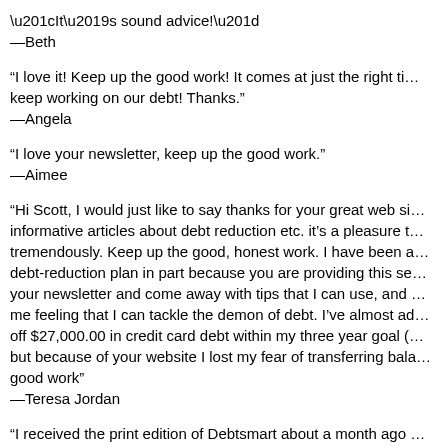“It’s sound advice!”
—Beth
“I love it! Keep up the good work! It comes at just the right ti... keep working on our debt! Thanks.”
—Angela
“I love your newsletter, keep up the good work.”
—Aimee
“Hi Scott, I would just like to say thanks for your great web si... informative articles about debt reduction etc. it’s a pleasure t... tremendously. Keep up the good, honest work. I have been a... debt-reduction plan in part because you are providing this se... your newsletter and come away with tips that I can use, and ... me feeling that I can tackle the demon of debt. I’ve almost ad... off $27,000.00 in credit card debt within my three year goal (... but because of your website I lost my fear of transferring bala... good work”
—Teresa Jordan
“I received the print edition of Debtsmart about a month ago ... can keep making the print version as I like to keep them and... time!!! Thank you for such a great magazine. With just the fi... received, I learned so much. Great tips!!! Keep up the good ...